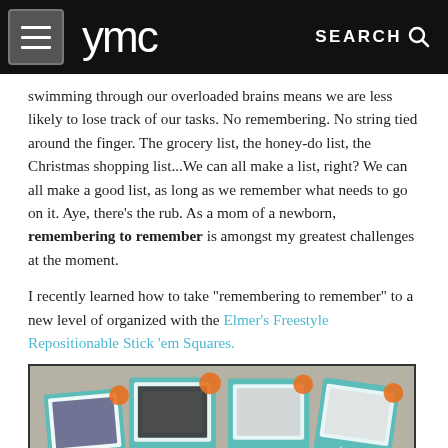ymc | SEARCH
swimming through our overloaded brains means we are less likely to lose track of our tasks. No remembering. No string tied around the finger. The grocery list, the honey-do list, the Christmas shopping list...We can all make a list, right? We can all make a good list, as long as we remember what needs to go on it. Aye, there's the rub. As a mom of a newborn, remembering to remember is amongst my greatest challenges at the moment.
I recently learned how to take "remembering to remember" to a new level of organized with the Elmer's Freestyle Repositionable Stick 'em Squares.
[Figure (photo): Photo showing multiple packages of Elmer's Freestyle Repositionable Stick 'em Squares products arranged on a gray surface. The packages are teal/turquoise colored with orange accents showing the freestyle branding.]